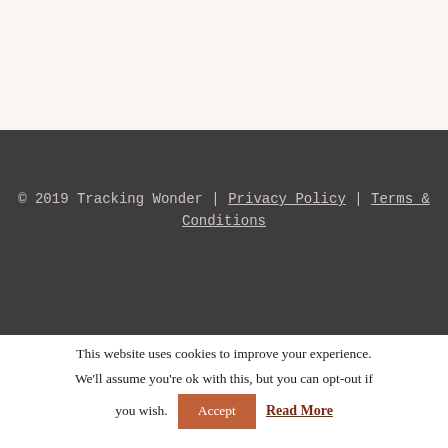© 2019 Tracking Wonder | Privacy Policy | Terms & Conditions
This website uses cookies to improve your experience. We'll assume you're ok with this, but you can opt-out if you wish. Accept Read More